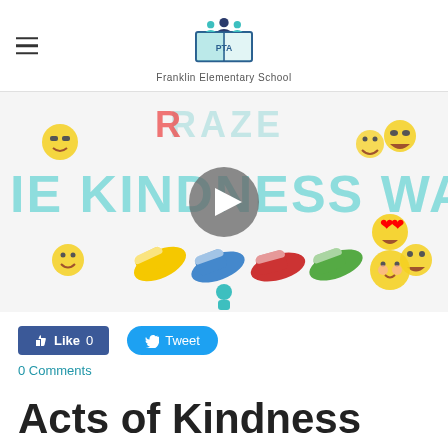[Figure (logo): Franklin Elementary School PTA logo with people figures and book, teal and navy colors]
[Figure (screenshot): Video thumbnail showing 'The Kindness Walk' with colorful sneakers and emoji faces, with a play button overlay]
[Figure (other): Facebook Like button showing 'Like 0' and Twitter Tweet button]
0 Comments
Acts of Kindness are